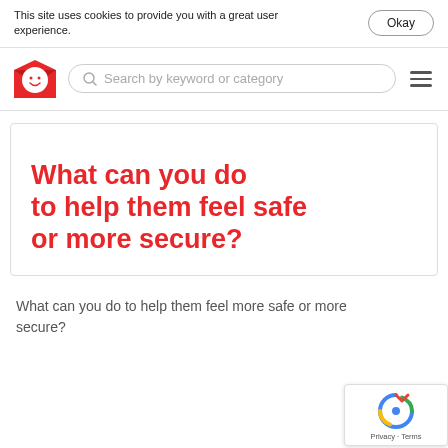This site uses cookies to provide you with a great user experience.
[Figure (logo): Red envelope logo with smiley face]
Search by keyword or category
[Figure (illustration): Hero banner with red bold text: What can you do to help them feel safe or more secure?]
What can you do to help them feel safe or more secure?
What can you do to help them feel more safe or more secure?